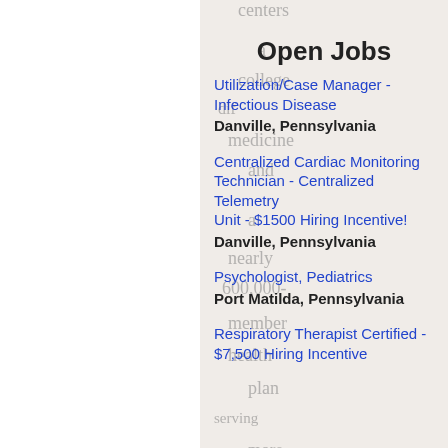Open Jobs
Utilization/Case Manager - Infectious Disease
Danville, Pennsylvania
Centralized Cardiac Monitoring Technician - Centralized Telemetry Unit - $1500 Hiring Incentive!
Danville, Pennsylvania
Psychologist, Pediatrics
Port Matilda, Pennsylvania
Respiratory Therapist Certified - $7,500 Hiring Incentive